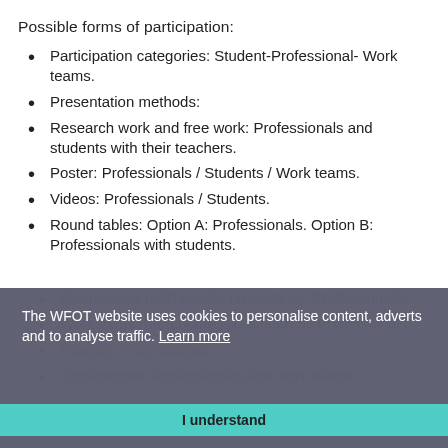Possible forms of participation:
Participation categories: Student-Professional- Work teams.
Presentation methods:
Research work and free work: Professionals and students with their teachers.
Poster: Professionals / Students / Work teams.
Videos: Professionals / Students.
Round tables: Option A: Professionals. Option B: Professionals with students.
Discussions (with on-site production): Professionals.
Workshops (pre-congress) dictated by Professionals.
Rounds: Professionals.
Conferences: Professionals and work teams.
The WFOT website uses cookies to personalise content, adverts and to analyse traffic. Learn more
I understand